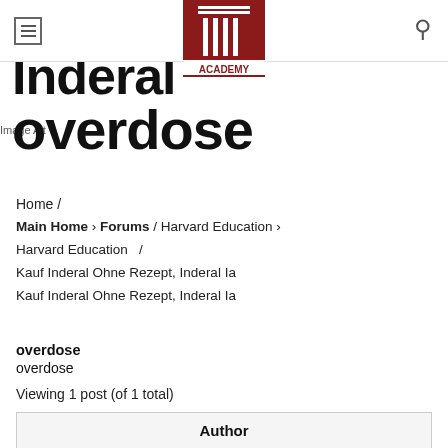Harvard Academy - navigation header with hamburger menu, Academy logo, and search icon
Inderal overdose
Home /
Main Home › Forums / Harvard Education / Kauf Inderal Ohne Rezept, Inderal Ia overdose
Viewing 1 post (of 1 total)
| Author |
| --- |
| February 23, 2021 at 7:24 pm |